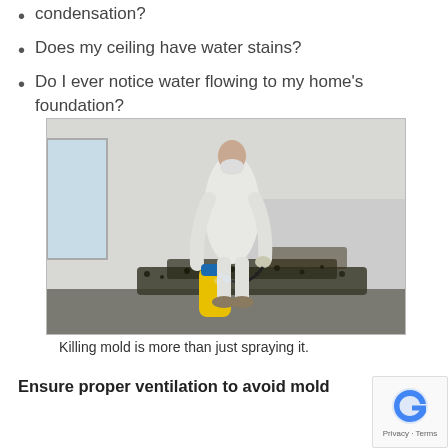condensation?
Does my ceiling have water stains?
Do I ever notice water flowing to my home’s foundation?
[Figure (photo): A person in a white protective suit and mask spraying mold on the lower wall of a room, using a yellow spray canister. The wall shows heavy black mold growth near the floor.]
Killing mold is more than just spraying it.
Ensure proper ventilation to avoid mold